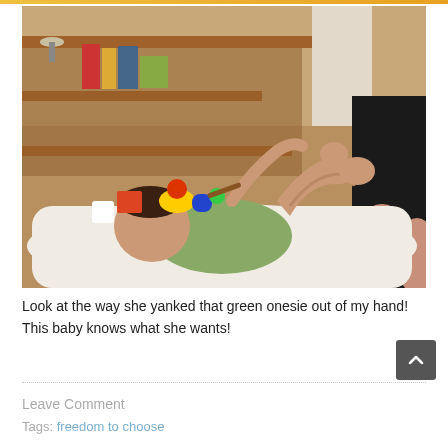[Figure (photo): A baby lying on its back on a white changing mat/towel, wearing a green onesie, with colorful toys scattered around on the floor and a wooden shelf in the background. An adult kneels nearby.]
Look at the way she yanked that green onesie out of my hand! This baby knows what she wants!
Leave Comment
Tags: freedom to choose